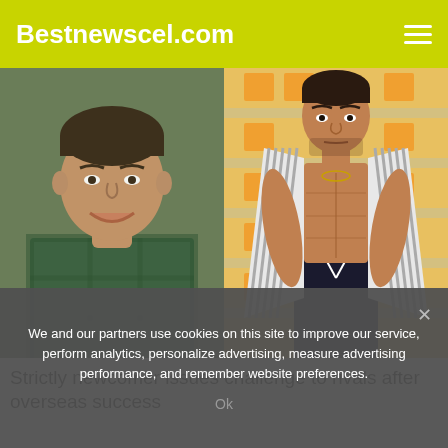Bestnewscel.com
[Figure (photo): Two photos side by side: left photo shows a young man smiling in a green plaid shirt, right photo shows a muscular man with an open striped shirt standing on stairs]
Strictly newcomer issues challenge to rivals after overseas success
We and our partners use cookies on this site to improve our service, perform analytics, personalize advertising, measure advertising performance, and remember website preferences.